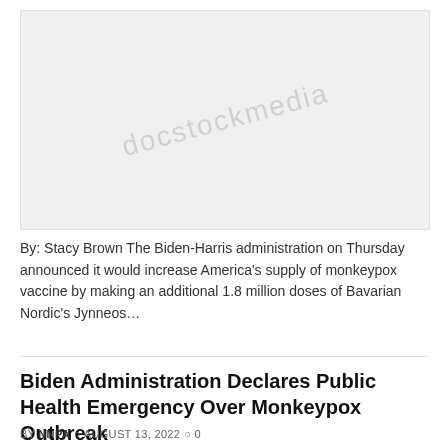[Figure (photo): Gray placeholder image with watermark text, representing a news article image about monkeypox vaccine]
By: Stacy Brown The Biden-Harris administration on Thursday announced it would increase America's supply of monkeypox vaccine by making an additional 1.8 million doses of Bavarian Nordic's Jynneos...
Biden Administration Declares Public Health Emergency Over Monkeypox Outbreak
BY NNPA  AUGUST 13, 2022  0